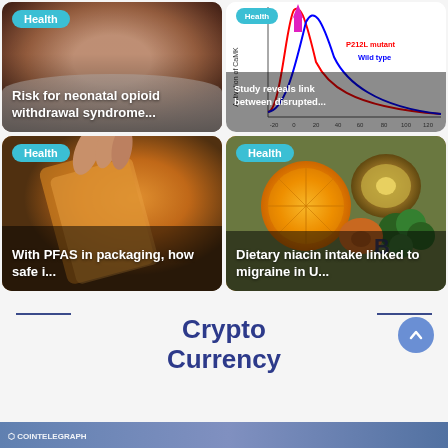[Figure (photo): Sleeping newborn baby wrapped in white cloth - card for neonatal opioid withdrawal syndrome article]
Health
Risk for neonatal opioid withdrawal syndrome...
[Figure (continuous-plot): Graph showing Activation of CaMK with red and blue curves, P212L mutant and Wild type labels, pink upward arrow. X-axis from -20 to 120.]
Health
Study reveals link between disrupted...
[Figure (photo): Hands opening orange PFAS food packaging bag]
Health
With PFAS in packaging, how safe i...
[Figure (photo): Assorted fruits and vegetables including orange, kiwi, broccoli with letter B visible - niacin/vitamin article]
Health
Dietary niacin intake linked to migraine in U...
Crypto Currency
[Figure (photo): Cointelegraph website screenshot partial view at bottom of page]